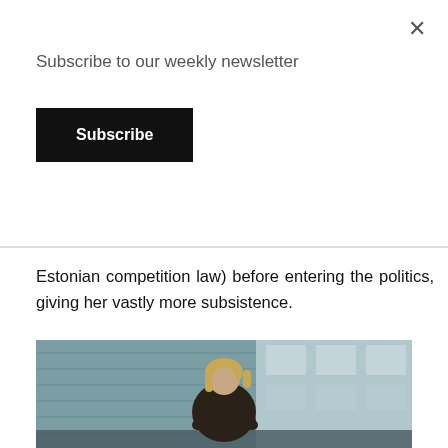Subscribe to our weekly newsletter
Subscribe
Estonian competition law) before entering the politics, giving her vastly more subsistence.
[Figure (photo): Woman with blonde hair, arms crossed, wearing dark jacket, standing in front of a modern building with teal/grey exterior cladding.]